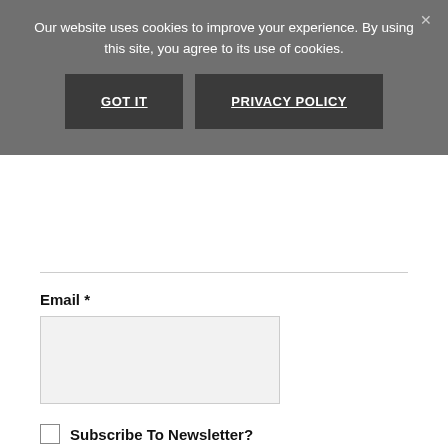Our website uses cookies to improve your experience. By using this site, you agree to its use of cookies.
GOT IT
PRIVACY POLICY
Email *
Subscribe To Newsletter?
POST COMMENT